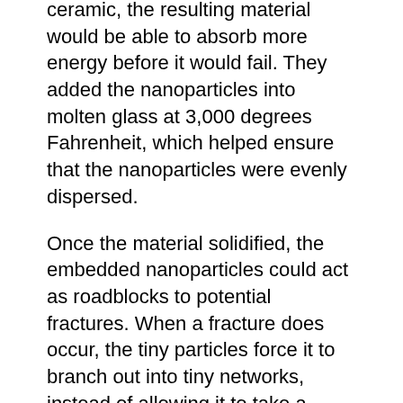ceramic, the resulting material would be able to absorb more energy before it would fail. They added the nanoparticles into molten glass at 3,000 degrees Fahrenheit, which helped ensure that the nanoparticles were evenly dispersed.
Once the material solidified, the embedded nanoparticles could act as roadblocks to potential fractures. When a fracture does occur, the tiny particles force it to branch out into tiny networks, instead of allowing it to take a straight path. That branching out enables the glass to absorb significantly more energy from a fracture before it causes significant damage.
Sintering, in which a powder is heated under pressure, and then cooled, is the main method used to make glass. It also was the method used in previous experiments by other research groups to disperse nanoparticles in glass or ceramics. But in those experiments, the nanoparticles weren't spread evenly.